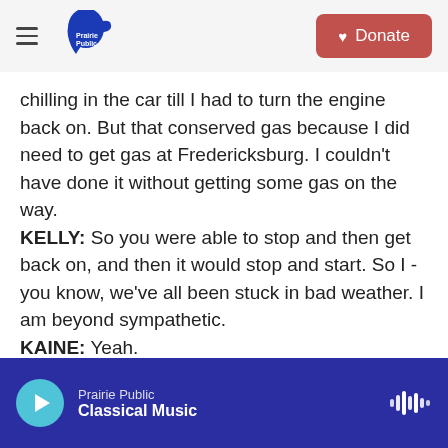Prairie Public — Donate
chilling in the car till I had to turn the engine back on. But that conserved gas because I did need to get gas at Fredericksburg. I couldn't have done it without getting some gas on the way.
KELLY: So you were able to stop and then get back on, and then it would stop and start. So I - you know, we've all been stuck in bad weather. I am beyond sympathetic.
KAINE: Yeah.
KELLY: But I have a couple of questions about how this happened and was quite this bad. One, others
Prairie Public — Classical Music